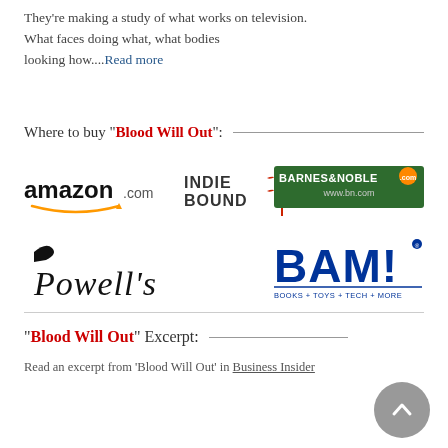They're making a study of what works on television. What faces doing what, what bodies looking how....Read more
Where to buy "Blood Will Out":
[Figure (logo): Retailer logos: amazon.com, IndieBound, Barnes & Noble, Powell's, BAM! Books + Toys + Tech + More]
"Blood Will Out" Excerpt:
Read an excerpt from 'Blood Will Out' in Business Insider